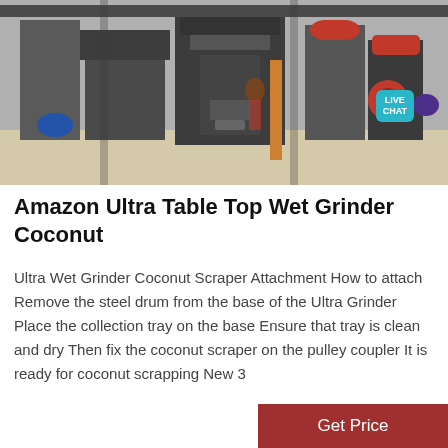[Figure (photo): Industrial machines/grinders in a factory warehouse setting with grey heavy equipment. A 'LIVE CHAT' teal badge with speech bubble icon is overlaid in the upper right corner.]
Amazon Ultra Table Top Wet Grinder Coconut
Ultra Wet Grinder Coconut Scraper Attachment How to attach Remove the steel drum from the base of the Ultra Grinder Place the collection tray on the base Ensure that tray is clean and dry Then fix the coconut scraper on the pulley coupler It is ready for coconut scrapping New 3
Get Price